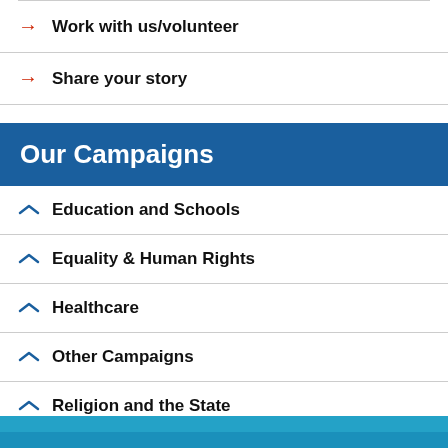Work with us/volunteer
Share your story
Our Campaigns
Education and Schools
Equality & Human Rights
Healthcare
Other Campaigns
Religion and the State